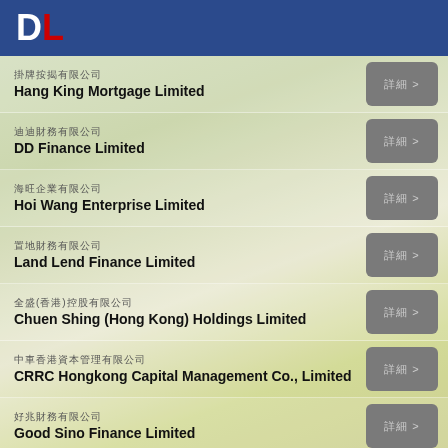DL
掛牌按揭有限公司 Hang King Mortgage Limited
迪迪財務有限公司 DD Finance Limited
海旺企業有限公司 Hoi Wang Enterprise Limited
置地財務有限公司 Land Lend Finance Limited
全盛(香港)控股有限公司 Chuen Shing (Hong Kong) Holdings Limited
中車香港資本管理有限公司 CRRC Hongkong Capital Management Co., Limited
好兆財務有限公司 Good Sino Finance Limited
信貸財務(香港)有限公司 Neo Consumer Finance (Hong Kong) Limited